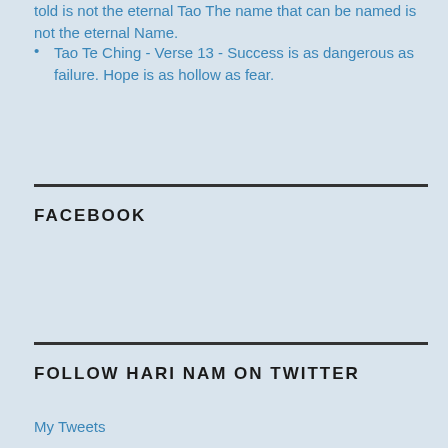told is not the eternal Tao The name that can be named is not the eternal Name.
Tao Te Ching - Verse 13 - Success is as dangerous as failure. Hope is as hollow as fear.
FACEBOOK
FOLLOW HARI NAM ON TWITTER
My Tweets